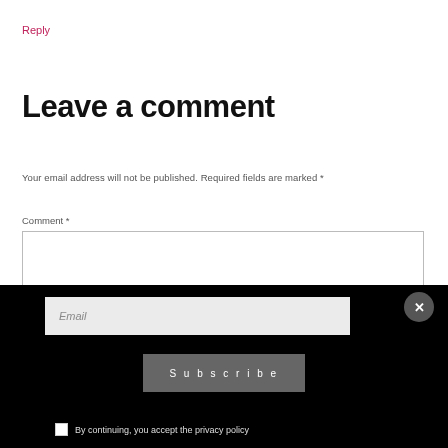Reply
Leave a comment
Your email address will not be published. Required fields are marked *
Comment *
We use cookies on our website to give you the most relevant
Email
Subscribe
By continuing, you accept the privacy policy